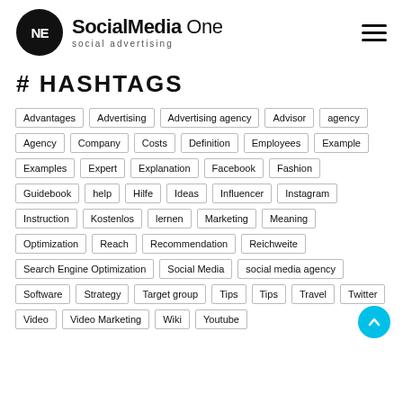SocialMedia One — social advertising
# HASHTAGS
Advantages
Advertising
Advertising agency
Advisor
agency
Agency
Company
Costs
Definition
Employees
Example
Examples
Expert
Explanation
Facebook
Fashion
Guidebook
help
Hilfe
Ideas
Influencer
Instagram
Instruction
Kostenlos
lernen
Marketing
Meaning
Optimization
Reach
Recommendation
Reichweite
Search Engine Optimization
Social Media
social media agency
Software
Strategy
Target group
Tips
Tips
Travel
Twitter
Video
Video Marketing
Wiki
Youtube